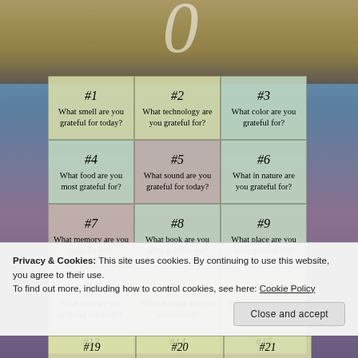| #1 What smell are you grateful for today? | #2 What technology are you grateful for? | #3 What color are you grateful for? |
| #4 What food are you most grateful for? | #5 What sound are you grateful for today? | #6 What in nature are you grateful for? |
| #7 What memory are you grateful for? | #8 What book are you most grateful for? | #9 What place are you most grateful for? |
| #10 What taste are you grateful for today? | #11 What holiday are you grateful for? | #12 What texture are you grateful for? |
| #13 | #14 | #15 |
Privacy & Cookies: This site uses cookies. By continuing to use this website, you agree to their use.
To find out more, including how to control cookies, see here: Cookie Policy
Close and accept